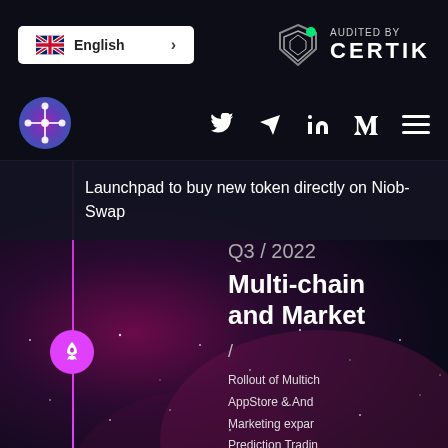[Figure (logo): English language selector button with UK flag icon and arrow]
[Figure (logo): Audited by CertIK badge with shield logo and green dot]
[Figure (logo): NiobSwap circular logo with interconnected nodes]
Launchpad to buy new token directly on Niob-Swap
Q3 / 2022
Multi-chain and Market
Rollout of Multich
AppStore & And
Marketing expar
Prediction Tradin
Voting with nati